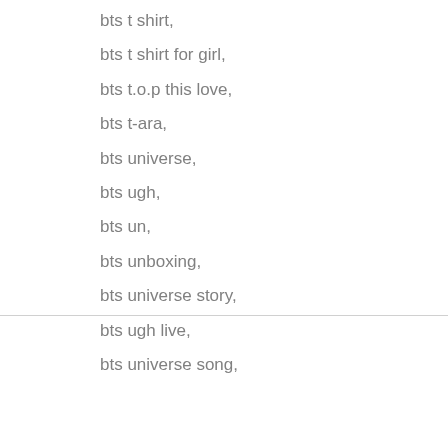bts t shirt,
bts t shirt for girl,
bts t.o.p this love,
bts t-ara,
bts universe,
bts ugh,
bts un,
bts unboxing,
bts universe story,
bts ugh live,
bts universe song,
We use cookies on our website to give you the most relevant experience by remembering your preferences and repeat visits. By clicking “Accept All”, you consent to the use of ALL the cookies. However, you may visit "Cookie Settings" to provide a controlled consent.